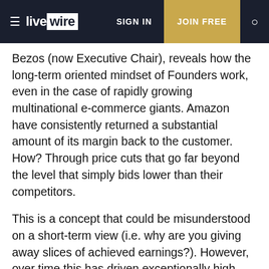livewire | SIGN IN | JOIN FREE
Bezos (now Executive Chair), reveals how the long-term oriented mindset of Founders work, even in the case of rapidly growing multinational e-commerce giants. Amazon have consistently returned a substantial amount of its margin back to the customer. How? Through price cuts that go far beyond the level that simply bids lower than their competitors.
This is a concept that could be misunderstood on a short-term view (i.e. why are you giving away slices of achieved earnings?). However, over time this has driven exceptionally high customer retention rates and boosted lifetime sales. The total shareholder returns of this strategy speak for themselves despite seeming potentially illogical on a quarterly or annual